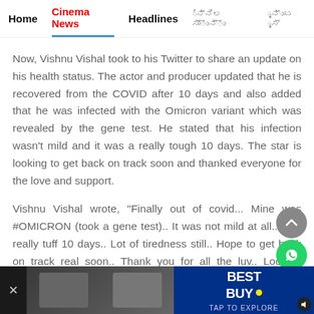Home  Cinema News  Headlines
Now, Vishnu Vishal took to his Twitter to share an update on his health status. The actor and producer updated that he is recovered from the COVID after 10 days and also added that he was infected with the Omicron variant which was revealed by the gene test. He stated that his infection wasn't mild and it was a really tough 10 days. The star is looking to get back on track soon and thanked everyone for the love and support.
Vishnu Vishal wrote, "Finally out of covid... Mine was #OMICRON (took a gene test).. It was not mild at all.. Had really tuff 10 days.. Lot of tiredness still.. Hope to get back on track real soon.. Thank you for all the luv.. Looking forward to share lots of work developments
[Figure (other): Advertisement banner at bottom with Best Buy logo and TAP TO EXPLORE text]